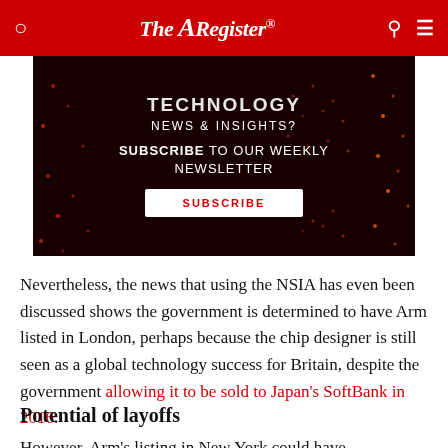The Register
[Figure (infographic): Dark red advertisement banner promoting The Register's weekly newsletter subscription with 'TECHNOLOGY NEWS & INSIGHTS? SUBSCRIBE TO OUR WEEKLY NEWSLETTER' text and a white Subscribe button]
Nevertheless, the news that using the NSIA has even been discussed shows the government is determined to have Arm listed in London, perhaps because the chip designer is still seen as a global technology success for Britain, despite the government allowing it to be sold to Japan's SoftBank in 2016.
Potential of layoffs
However, Arm's listing in New York could have